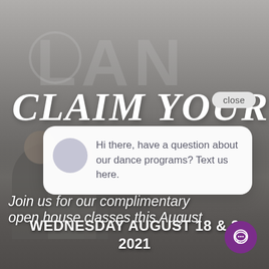[Figure (photo): Background photo of dancers from behind with watermark text LAN visible, overlaid with promotional content for a dance studio open house event]
CLAIM YOUR
close
Hi there, have a question about our dance programs? Text us here.
Join us for our complimentary open house classes this August
WEDNESDAY AUGUST 18 & 2
2021